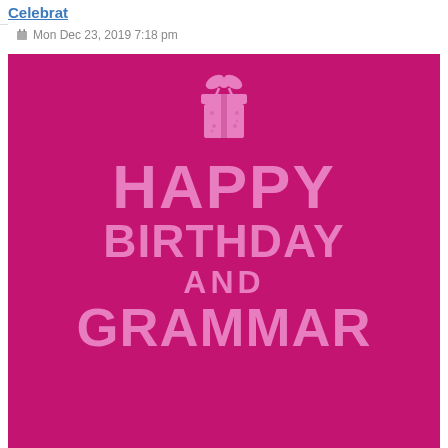Celebrat
Mon Dec 23, 2019 7:18 pm
[Figure (illustration): A hot pink/magenta greeting card image with a gift box icon at the top and large bold pink text reading HAPPY BIRTHDAY AND GRAMMAR on a magenta background.]